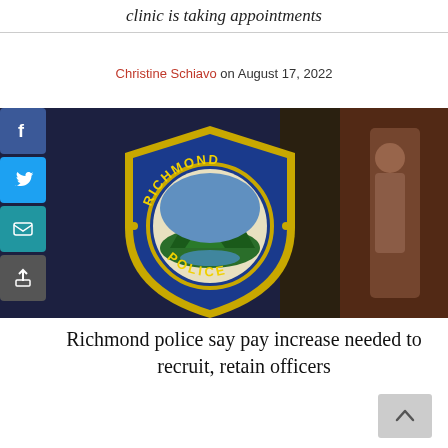clinic is taking appointments
Christine Schiavo on August 17, 2022
[Figure (photo): Close-up photograph of a Richmond Police badge/patch on a police officer's dark uniform. The badge is a blue shield shape with gold trim that reads 'RICHMOND' at the top and 'POLICE' at the bottom, with a scenic emblem in the center. A blurred background shows a street scene.]
Richmond police say pay increase needed to recruit, retain officers